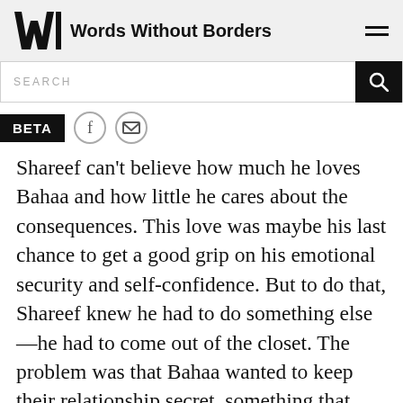Words Without Borders
SEARCH
BETA
Shareef can't believe how much he loves Bahaa and how little he cares about the consequences. This love was maybe his last chance to get a good grip on his emotional security and self-confidence. But to do that, Shareef knew he had to do something else—he had to come out of the closet. The problem was that Bahaa wanted to keep their relationship secret, something that Shareef grumbled about constantly. And, over time, Shareef's grumblings turned into rejection,